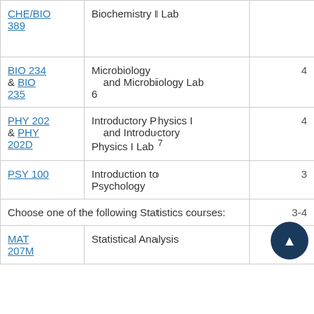| Course Code | Course Name | Credits |
| --- | --- | --- |
| CHE/BIO 389 | Biochemistry I Lab |  |
| BIO 234 & BIO 235 | Microbiology and Microbiology Lab 6 | 4 |
| PHY 202 & PHY 202D | Introductory Physics I and Introductory Physics I Lab 7 | 4 |
| PSY 100 | Introduction to Psychology | 3 |
| Choose one of the following Statistics courses: |  | 3-4 |
| MAT 207M | Statistical Analysis |  |